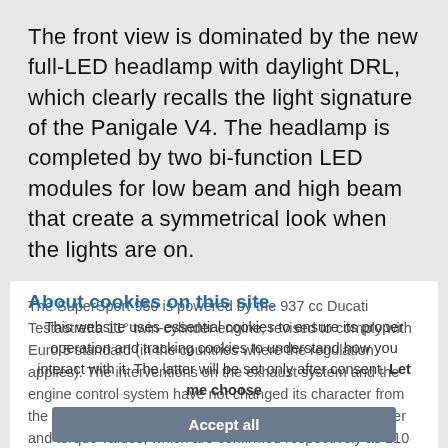The front view is dominated by the new full-LED headlamp with daylight DRL, which clearly recalls the light signature of the Panigale V4. The headlamp is completed by two bi-function LED modules for low beam and high beam that create a symmetrical look when the lights are on.
The SuperSport 950 is powered by the 937 cc Ducati Testastretta 11° twin-cylinder engine, revised to comply with Euro 5 standard (in the countries where the regulation applies). The interventions on the exhaust system and the engine control system have not changed its character from the full-bodied delivery at all revs, and the maximum power and torque values, which are confirmed respectively as 110 hp at 9,000 rpm and 93 Nm at 6,500 rpm. The oil bath clutch is now activated by the new hydraulic control with self-bleeding radial pump equipped with...
About cookies on this site.
This website uses essential cookies to ensure its proper operation and tracking cookies to understand how you interact with it. The latter will be set only after consent. Let me choose
Accept all
Reject all